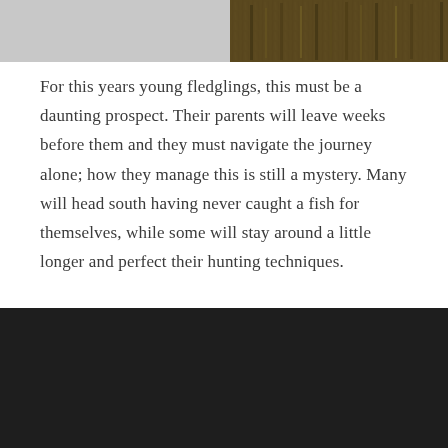[Figure (photo): Top partial image showing what appears to be a grassy or furry brown/green textured surface against a grey background]
For this years young fledglings, this must be a daunting prospect. Their parents will leave weeks before them and they must navigate the journey alone; how they manage this is still a mystery. Many will head south having never caught a fish for themselves, while some will stay around a little longer and perfect their hunting techniques.
[Figure (photo): Bottom partial image showing a very dark, almost black scene, likely a nighttime or low-light photograph]